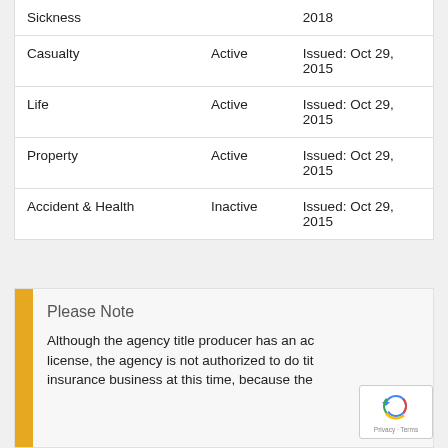| Type | Status | Date |
| --- | --- | --- |
| Sickness |  | 2018 |
| Casualty | Active | Issued: Oct 29, 2015 |
| Life | Active | Issued: Oct 29, 2015 |
| Property | Active | Issued: Oct 29, 2015 |
| Accident & Health | Inactive | Issued: Oct 29, 2015 |
Please Note
Although the agency title producer has an ac license, the agency is not authorized to do tit insurance business at this time, because the